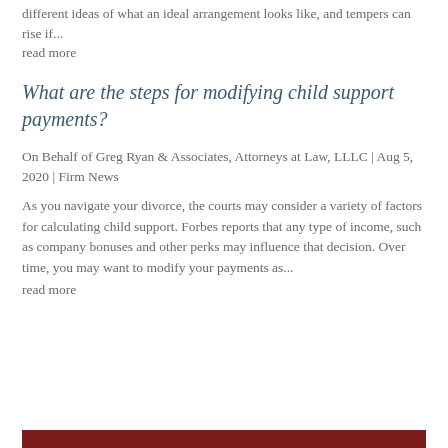different ideas of what an ideal arrangement looks like, and tempers can rise if...
read more
What are the steps for modifying child support payments?
On Behalf of Greg Ryan & Associates, Attorneys at Law, LLLC | Aug 5, 2020 | Firm News
As you navigate your divorce, the courts may consider a variety of factors for calculating child support. Forbes reports that any type of income, such as company bonuses and other perks may influence that decision. Over time, you may want to modify your payments as...
read more
[Figure (other): Dark red/maroon horizontal bar at the bottom of the page]